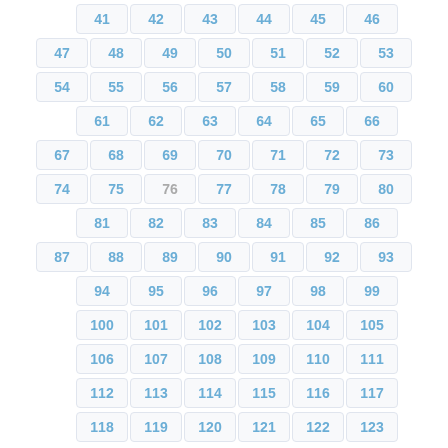[Figure (other): Grid of numbered cells from 41 to 123, displayed in rows with blue text on light gray/white tile backgrounds. The rows have varying numbers of cells (6 or 7 per row), creating a staggered/offset pattern. Numbers 41-46 (6 cells), 47-53 (7 cells), 54-60 (7 cells), 61-66 (6 cells), 67-73 (7 cells), 74-80 (7 cells), 81-86 (6 cells), 87-93 (7 cells), 94-99 (6 cells), 100-105 (6 cells), 106-111 (6 cells), 112-117 (6 cells), 118-123 (6 cells).]